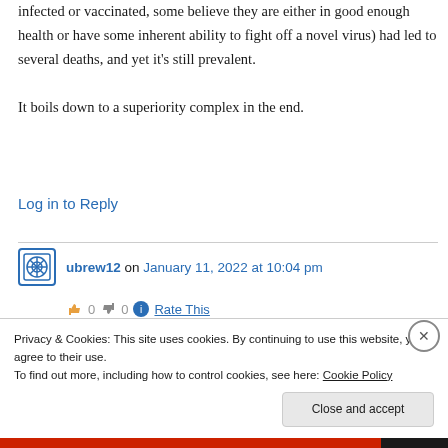infected or vaccinated, some believe they are either in good enough health or have some inherent ability to fight off a novel virus) had led to several deaths, and yet it's still prevalent.

It boils down to a superiority complex in the end.
Log in to Reply
ubrew12 on January 11, 2022 at 10:04 pm
Privacy & Cookies: This site uses cookies. By continuing to use this website, you agree to their use.
To find out more, including how to control cookies, see here: Cookie Policy